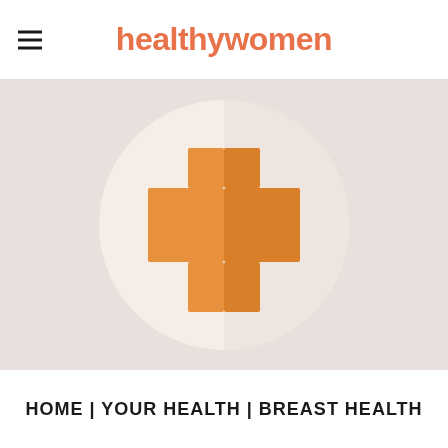healthywomen
[Figure (illustration): Medical plus/cross symbol icon in orange on a light beige circle, set against a pinkish-beige background. The cross is rendered with a lighter left half and slightly darker right half suggesting a 3D effect.]
HOME | YOUR HEALTH | BREAST HEALTH